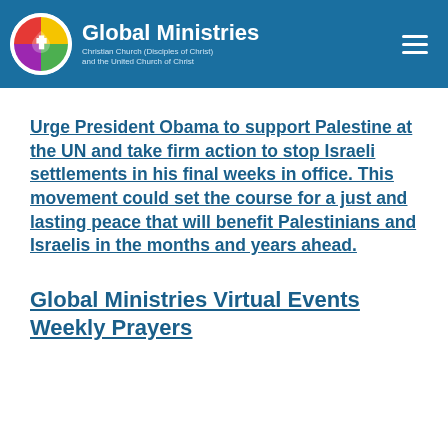Global Ministries – Christian Church (Disciples of Christ) and the United Church of Christ
Urge President Obama to support Palestine at the UN and take firm action to stop Israeli settlements in his final weeks in office. This movement could set the course for a just and lasting peace that will benefit Palestinians and Israelis in the months and years ahead.
Global Ministries Virtual Events Weekly Prayers